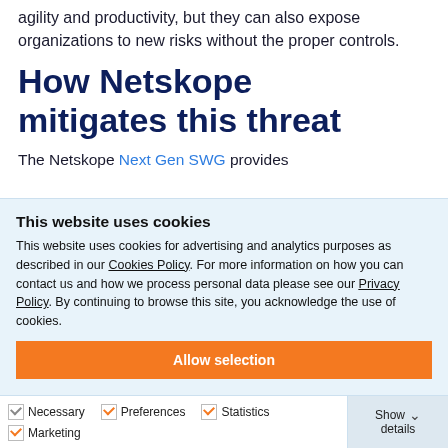agility and productivity, but they can also expose organizations to new risks without the proper controls.
How Netskope mitigates this threat
The Netskope Next Gen SWG provides
This website uses cookies
This website uses cookies for advertising and analytics purposes as described in our Cookies Policy. For more information on how you can contact us and how we process personal data please see our Privacy Policy. By continuing to browse this site, you acknowledge the use of cookies.
Allow selection
Allow all cookies
Necessary  Preferences  Statistics  Marketing
Show details